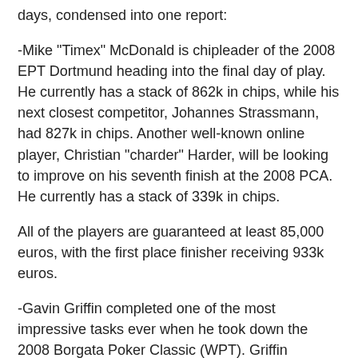days, condensed into one report:
-Mike "Timex" McDonald is chipleader of the 2008 EPT Dortmund heading into the final day of play. He currently has a stack of 862k in chips, while his next closest competitor, Johannes Strassmann, had 827k in chips. Another well-known online player, Christian "charder" Harder, will be looking to improve on his seventh finish at the 2008 PCA. He currently has a stack of 339k in chips.
All of the players are guaranteed at least 85,000 euros, with the first place finisher receiving 933k euros.
-Gavin Griffin completed one of the most impressive tasks ever when he took down the 2008 Borgata Poker Classic (WPT). Griffin became the first player EVER to a WPT event, WSOP event and EPT event. No other player on the face of the planet can say the same.